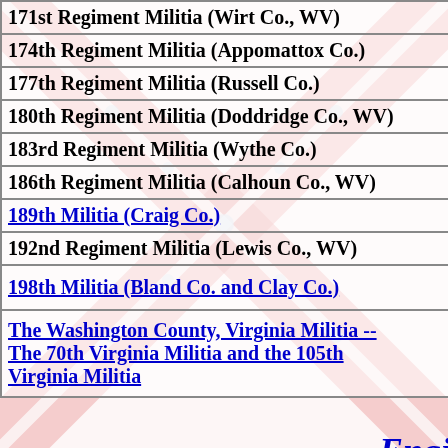| Column 1 | Column 2 |
| --- | --- |
| 171st Regiment Militia (Wirt Co., WV) | 172nd Re... |
| 174th Regiment Militia (Appomattox Co.) | 175th Re... |
| 177th Regiment Militia (Russell Co.) | 178th Re... |
| 180th Regiment Militia (Doddridge Co., WV) | 181st Re... |
| 183rd Regiment Militia (Wythe Co.) | 184th Re... [link] |
| 186th Regiment Militia (Calhoun Co., WV) | 187th Re... |
| 189th Militia (Craig Co.) [link] | 190th Mi... [link] |
| 192nd Regiment Militia (Lewis Co., WV) | 194th Re... |
| 198th Militia (Bland Co. and Clay Co.) [link] | 199th Re... |
| The Washington County, Virginia Militia -- The 70th Virginia Militia and the 105th Virginia Militia [link] | The Wyth... Militia an... [link] |
Engineers
Federal Units
1st Regiment Loyal Eastern Virginia Volunteers